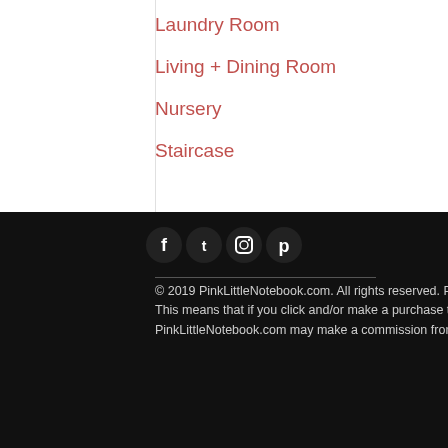Laundry Room
Living + Dining Room
Nursery
Staircase
[Figure (other): Social media icons: Facebook, Twitter, Instagram, Pinterest]
© 2019 PinkLittleNotebook.com. All rights reserved. PinkLittleNotebook.com participates in select affiliate advertising programs. This means that if you click and/or make a purchase through certain links on this site or any related social media platforms, PinkLittleNotebook.com may make a commission from that click and/or